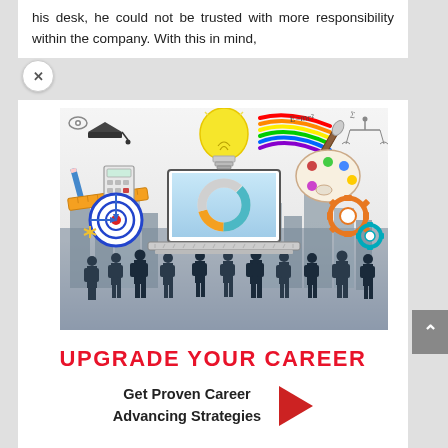his desk, he could not be trusted with more responsibility within the company. With this in mind,
[Figure (illustration): Educational and career concept illustration showing a laptop with a lightbulb, graduation cap, pencil, ruler, calculator, target/bullseye, paint palette, scales of justice, gears, rainbow brush strokes, and silhouettes of business people in the foreground.]
UPGRADE YOUR CAREER
Get Proven Career Advancing Strategies